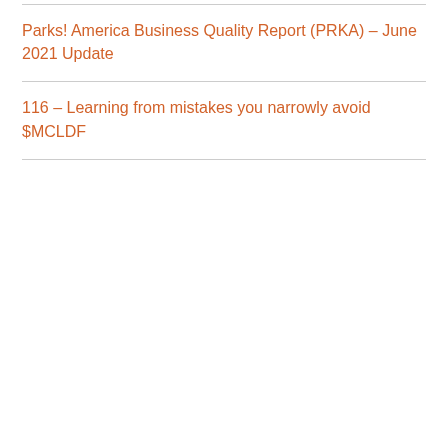Parks! America Business Quality Report (PRKA) – June 2021 Update
116 – Learning from mistakes you narrowly avoid $MCLDF